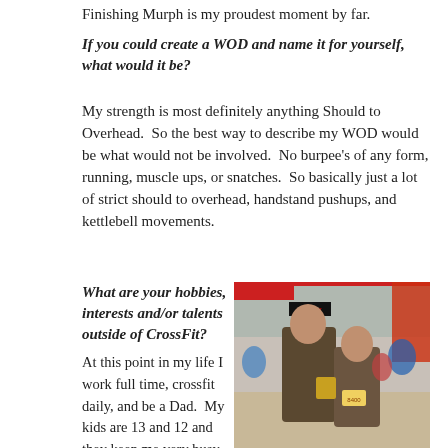Finishing Murph is my proudest moment by far.
If you could create a WOD and name it for yourself, what would it be?
My strength is most definitely anything Should to Overhead.  So the best way to describe my WOD would be what would not be involved.  No burpee's of any form, running, muscle ups, or snatches.  So basically just a lot of strict should to overhead, handstand pushups, and kettlebell movements.
What are your hobbies, interests and/or talents outside of CrossFit?
At this point in my life I work full time, crossfit daily, and be a Dad.  My kids are 13 and 12 and they keep me very busy, so I don't have time for
[Figure (photo): Two people standing together after a mud run event, both covered in mud and smiling. A race timer display is visible in the background along with event banners and other participants.]